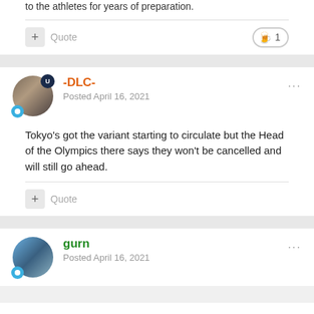to the athletes for years of preparation.
Quote
-DLC-
Posted April 16, 2021
Tokyo's got the variant starting to circulate but the Head of the Olympics there says they won't be cancelled and will still go ahead.
Quote
gurn
Posted April 16, 2021